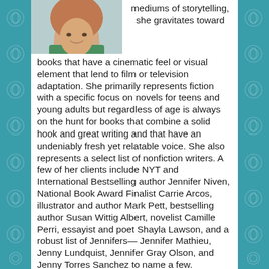[Figure (photo): Partial portrait photo of a person, cropped at top, showing shoulders and head area with green clothing]
mediums of storytelling, she gravitates toward books that have a cinematic feel or visual element that lend to film or television adaptation. She primarily represents fiction with a specific focus on novels for teens and young adults but regardless of age is always on the hunt for books that combine a solid hook and great writing and that have an undeniably fresh yet relatable voice. She also represents a select list of nonfiction writers. A few of her clients include NYT and International Bestselling author Jennifer Niven, National Book Award Finalist Carrie Arcos, illustrator and author Mark Pett, bestselling author Susan Wittig Albert, novelist Camille Perri, essayist and poet Shayla Lawson, and a robust list of Jennifers— Jennifer Mathieu, Jenny Lundquist, Jennifer Gray Olson, and Jenny Torres Sanchez to name a few.
"Kerry grew up in the woods of Oregon as the extroverted early bird in a family of introverted night owls, and, as a middle child, learned how to